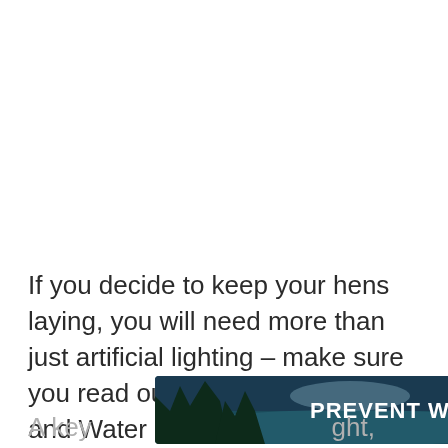If you decide to keep your hens laying, you will need more than just artificial lighting– make sure you read our chapters on Feeding and Water Supply.
[Figure (illustration): Banner advertisement showing 'PREVENT WILDFIRES.' text with Smokey Bear character on a dark forest background]
A key ... ht,